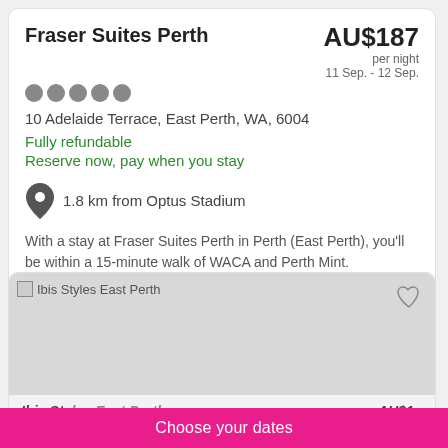Fraser Suites Perth
AU$187 per night 11 Sep. - 12 Sep.
10 Adelaide Terrace, East Perth, WA, 6004
Fully refundable
Reserve now, pay when you stay
1.8 km from Optus Stadium
With a stay at Fraser Suites Perth in Perth (East Perth), you'll be within a 15-minute walk of WACA and Perth Mint.
[Figure (photo): Ibis Styles East Perth hotel listing card with broken image placeholder]
Ibis Styles East Perth
Choose your dates